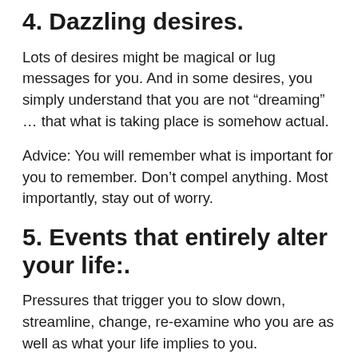4. Dazzling desires.
Lots of desires might be magical or lug messages for you. And in some desires, you simply understand that you are not “dreaming” … that what is taking place is somehow actual.
Advice: You will remember what is important for you to remember. Don’t compel anything. Most importantly, stay out of worry.
5. Events that entirely alter your life:.
Pressures that trigger you to slow down, streamline, change, re-examine who you are as well as what your life implies to you.